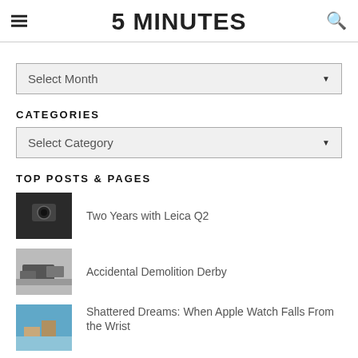5 MINUTES
Select Month
CATEGORIES
Select Category
TOP POSTS & PAGES
Two Years with Leica Q2
Accidental Demolition Derby
Shattered Dreams: When Apple Watch Falls From the Wrist